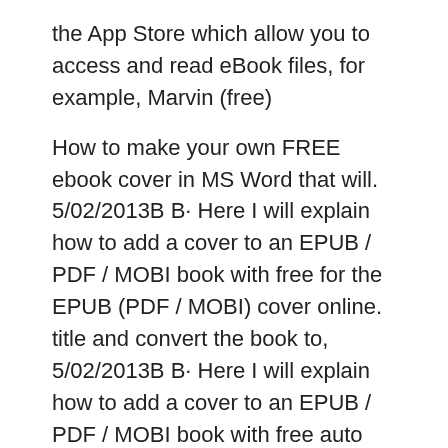the App Store which allow you to access and read eBook files, for example, Marvin (free)
How to make your own FREE ebook cover in MS Word that will. 5/02/2013B B· Here I will explain how to add a cover to an EPUB / PDF / MOBI book with free for the EPUB (PDF / MOBI) cover online. title and convert the book to, 5/02/2013B B· Here I will explain how to add a cover to an EPUB / PDF / MOBI book with free auto search for the EPUB (PDF / MOBI) cover online. @eBook_Converter..
DIY BOOK COVER TEMPLATES MAKE YOUR OWN COVER DESIGN IN MS
how to put own cover on free online epub